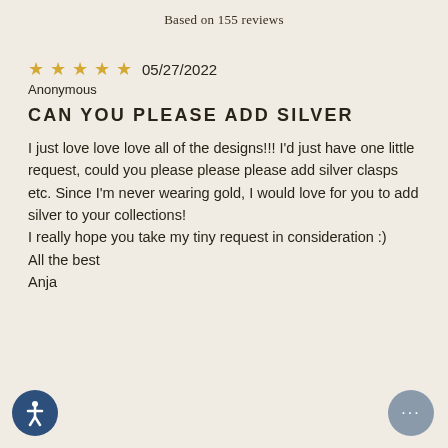Based on 155 reviews
★★★★★ 05/27/2022
Anonymous
CAN YOU PLEASE ADD SILVER
I just love love love all of the designs!!! I'd just have one little request, could you please please please add silver clasps etc. Since I'm never wearing gold, I would love for you to add silver to your collections!
I really hope you take my tiny request in consideration :)
All the best
Anja